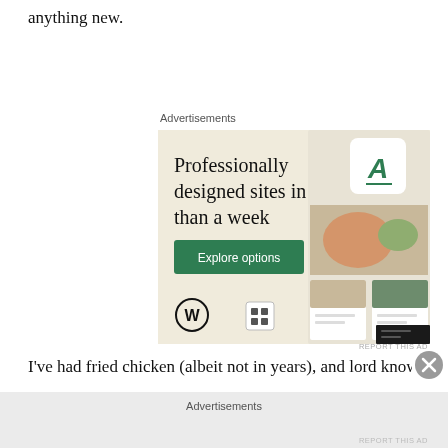anything new.
Advertisements
[Figure (illustration): WordPress advertisement showing 'Professionally designed sites in less than a week' with an Explore options button, WordPress logo, and mockup images of websites on a beige/cream background.]
REPORT THIS AD
I've had fried chicken (albeit not in years), and lord knows
Advertisements
REPORT THIS AD